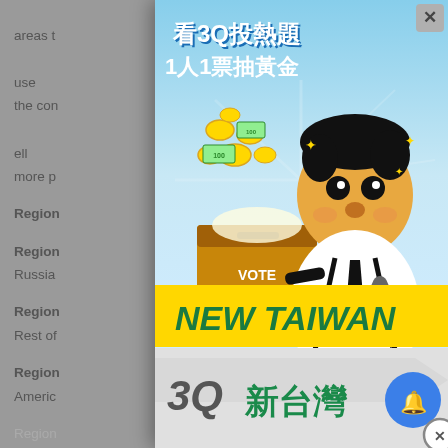areas t... use the con... ell more p...
Region...
Region... Russia...
Region... lia; Rest of...
Region... Americ...
Region... Israel Rest of...
[Figure (illustration): A popup advertisement for '3Q 新台灣' (3Q New Taiwan) featuring a cartoon character in a suit with a microphone, gold coins and a vote box, with Chinese text reading '看3Q投熱題 1人1票抽黃金' and English text 'NEW TAIWAN', along with a notification bell button and close button.]